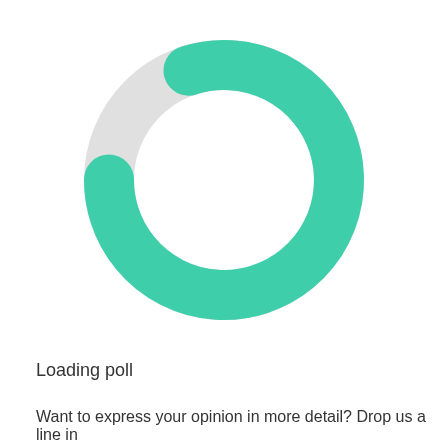[Figure (other): A circular loading spinner/progress indicator. A thick ring shape, mostly teal/green (#3ecfaa) covering about 80% of the circle, with a small gap at the top right showing a light gray (#e0e0e0) arc. The gap represents the unloaded portion.]
Loading poll
Want to express your opinion in more detail? Drop us a line in